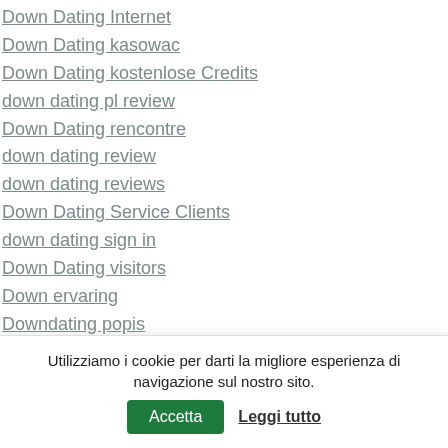Down Dating Internet
Down Dating kasowac
Down Dating kostenlose Credits
down dating pl review
Down Dating rencontre
down dating review
down dating reviews
Down Dating Service Clients
down dating sign in
Down Dating visitors
Down ervaring
Downdating popis
downey eros escort
downey escort index
downey escort meaning
downey escort service
Utilizziamo i cookie per darti la migliore esperienza di navigazione sul nostro sito.
Accetta
Leggi tutto